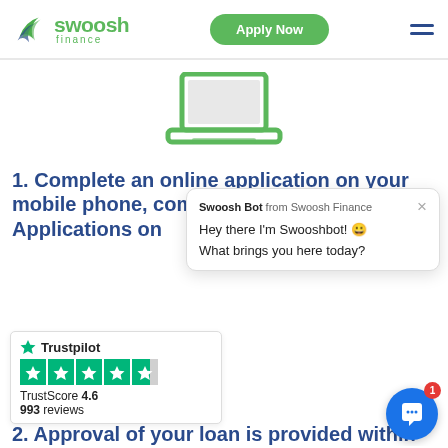[Figure (logo): Swoosh Finance logo with green stylized swoosh icon and green text 'swoosh finance']
Apply Now
[Figure (illustration): Green laptop computer icon]
1. Complete an online application on your mobile phone, computer or tablet. Applications on
[Figure (screenshot): Chat popup: Swoosh Bot from Swoosh Finance - Hey there I'm Swooshbot! 😀 What brings you here today?]
[Figure (illustration): Trustpilot rating box: TrustScore 4.6, 993 reviews, 4.5 green stars]
2. Approval of your loan is provided within